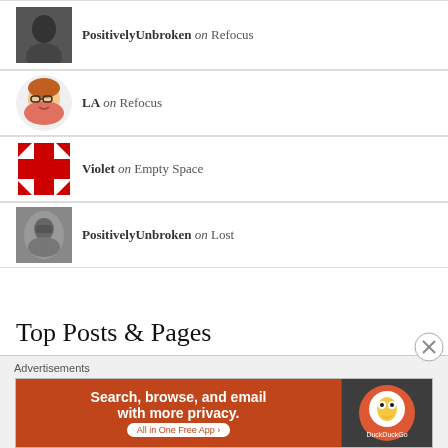PositivelyUnbroken on Refocus
LA on Refocus
Violet on Empty Space
PositivelyUnbroken on Lost
Top Posts & Pages
Comfort Zone
Advertisements
[Figure (screenshot): DuckDuckGo advertisement banner: orange left panel with text 'Search, browse, and email with more privacy. All in One Free App', dark right panel with DuckDuckGo duck logo]